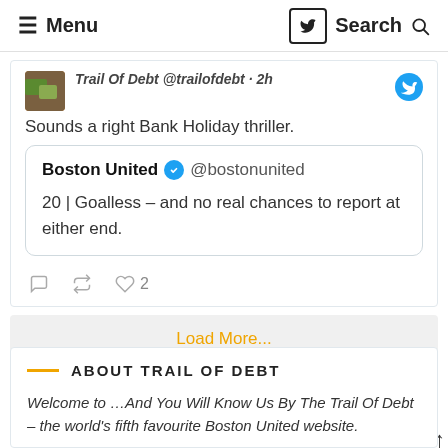Menu | Search
Trail Of Debt @trailofdebt · 2h
Sounds a right Bank Holiday thriller.
Boston United @bostonunited
20 | Goalless – and no real chances to report at either end.
Load More...
ABOUT TRAIL OF DEBT
Welcome to …And You Will Know Us By The Trail Of Debt – the world's fifth favourite Boston United website.